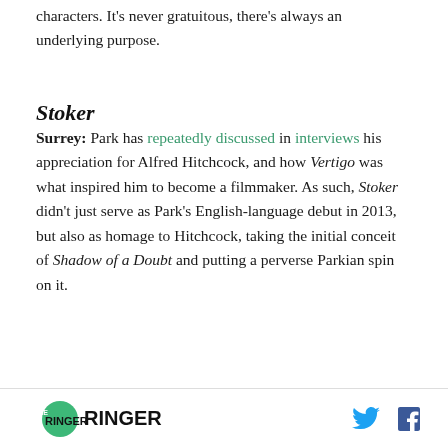characters. It's never gratuitous, there's always an underlying purpose.
Stoker
Surrey: Park has repeatedly discussed in interviews his appreciation for Alfred Hitchcock, and how Vertigo was what inspired him to become a filmmaker. As such, Stoker didn't just serve as Park's English-language debut in 2013, but also as homage to Hitchcock, taking the initial conceit of Shadow of a Doubt and putting a perverse Parkian spin on it.
The Ringer logo with Twitter and Facebook icons